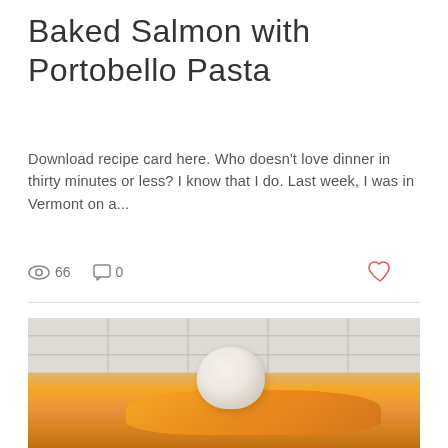Baked Salmon with Portobello Pasta
Download recipe card here. Who doesn't love dinner in thirty minutes or less? I know that I do. Last week, I was in Vermont on a...
66 views, 0 comments, like button
[Figure (photo): Photo of a dessert dish with peach slices topped with a scoop of vanilla ice cream, served on a white plate, with white tile background]